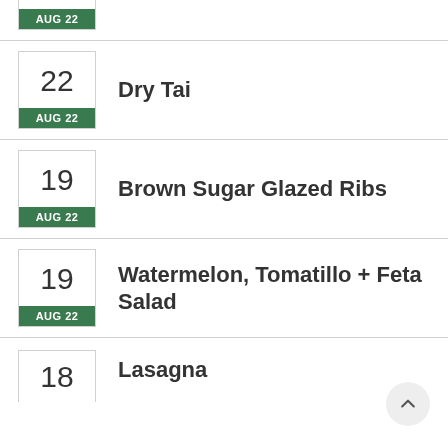AUG 22 (top partial badge)
22 AUG 22 — Dry Tai
19 AUG 22 — Brown Sugar Glazed Ribs
19 AUG 22 — Watermelon, Tomatillo + Feta Salad
18 — Lasagna (partial)